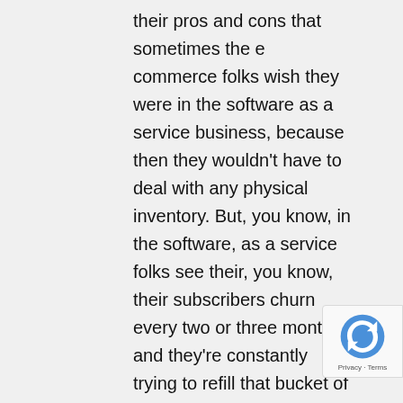their pros and cons that sometimes the e commerce folks wish they were in the software as a service business, because then they wouldn't have to deal with any physical inventory. But, you know, in the software, as a service folks see their, you know, their subscribers churn every two or three months, and they're constantly trying to refill that bucket of subscribers, they may wish they sold a staple, like toilet paper, or, you know, dog food. And they could just order 1000s and 1000s of dollars of it and send it to Amazon and have them sell it in theirs while they're sleeping. So there's always a, there's always a grass is always greener mentality about kind of wishing you maybe had a different business, they all can be good, they can all be successful, our biggest seller has $110 million a year in annual revenue.